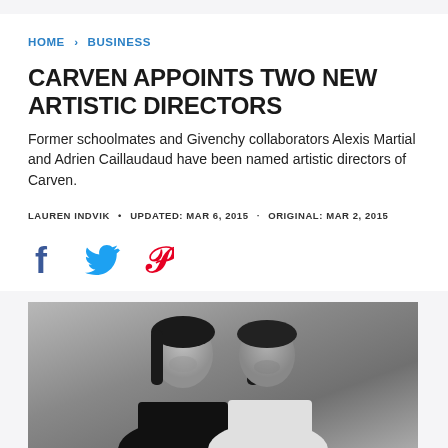HOME > BUSINESS
CARVEN APPOINTS TWO NEW ARTISTIC DIRECTORS
Former schoolmates and Givenchy collaborators Alexis Martial and Adrien Caillaudaud have been named artistic directors of Carven.
LAUREN INDVIK • UPDATED: MAR 6, 2015 · ORIGINAL: MAR 2, 2015
[Figure (illustration): Social media sharing icons: Facebook (blue f), Twitter (blue bird), Pinterest (red P)]
[Figure (photo): Black and white portrait photo of two men side by side — Alexis Martial and Adrien Caillaudaud, the new artistic directors of Carven]